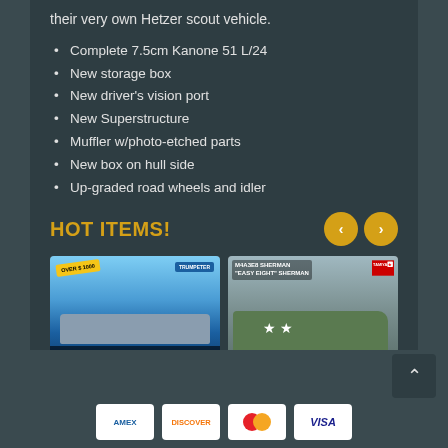their very own Hetzer scout vehicle.
Complete 7.5cm Kanone 51 L/24
New storage box
New driver's vision port
New Superstructure
Muffler w/photo-etched parts
New box on hull side
Up-graded road wheels and idler
HOT ITEMS!
[Figure (photo): Trumpeter Models 1/200 USS Yorktown CV5 Aircraft Carrier Kit product box art showing aircraft carrier at sea]
[Figure (photo): Tamiya M4A3E8 Sherman 'Easy Eight' Sherman tank model kit box art showing tank with star markings]